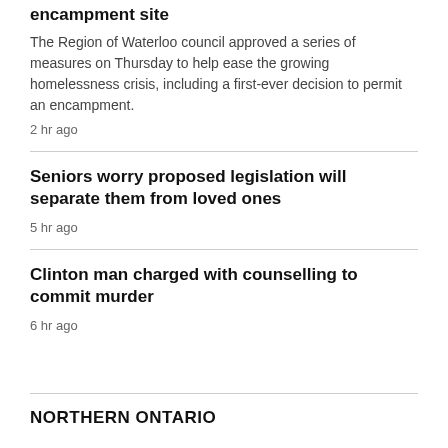Region approves first-ever sanctioned encampment site
The Region of Waterloo council approved a series of measures on Thursday to help ease the growing homelessness crisis, including a first-ever decision to permit an encampment.
2 hr ago
Seniors worry proposed legislation will separate them from loved ones
5 hr ago
Clinton man charged with counselling to commit murder
6 hr ago
NORTHERN ONTARIO